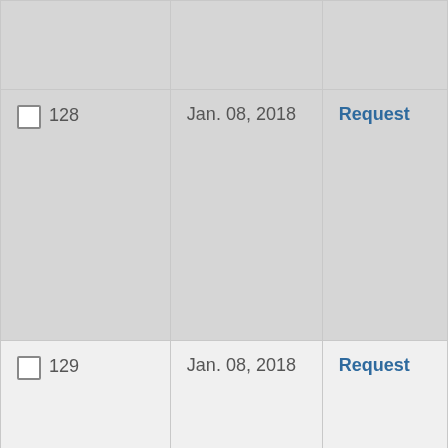| ID | Date | Action |
| --- | --- | --- |
|  |  |  |
| ☐ 128 | Jan. 08, 2018 | Request |
| ☐ 129 | Jan. 08, 2018 | Request |
|  |  |  |